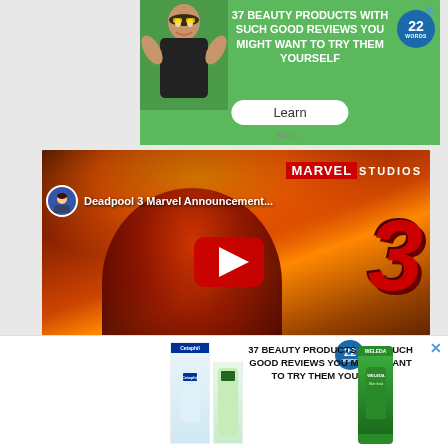[Figure (screenshot): Advertisement banner for '37 Beauty Products With Such Good Reviews You Might Want to Try Them Yourself' with a woman smiling, green background, 22 Words badge, and Learn button]
[Figure (screenshot): YouTube video embed for 'Deadpool 3 Marvel Announcement...' with Marvel Studios branding, Deadpool character image, large red '3', play button, and CLOSE button]
[Figure (screenshot): Bottom advertisement banner with '37 Beauty Products With Such Good Reviews You Might Want to Try Them Yourself', 22 Words badge, Cetaphil and Weleda product images]